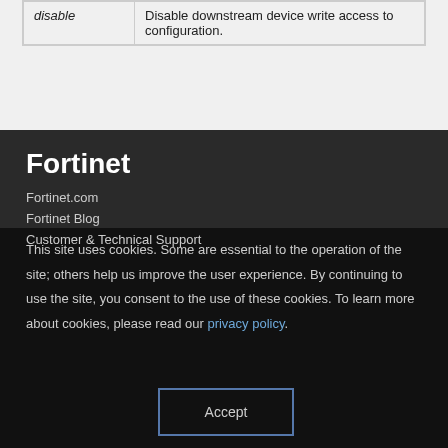|  |  |
| --- | --- |
| disable | Disable downstream device write access to configuration. |
Fortinet
Fortinet.com
Fortinet Blog
Customer & Technical Support
This site uses cookies. Some are essential to the operation of the site; others help us improve the user experience. By continuing to use the site, you consent to the use of these cookies. To learn more about cookies, please read our privacy policy.